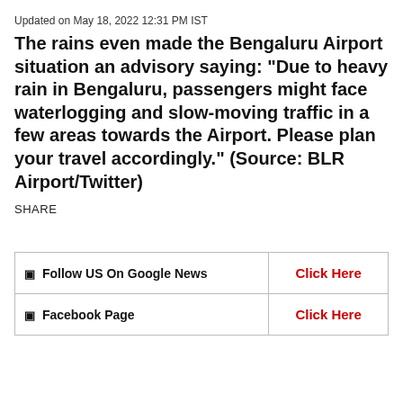Updated on May 18, 2022 12:31 PM IST
The rains even made the Bengaluru Airport situation an advisory saying: “Due to heavy rain in Bengaluru, passengers might face waterlogging and slow-moving traffic in a few areas towards the Airport. Please plan your travel accordingly.” (Source: BLR Airport/Twitter)
SHARE
|  |  |
| --- | --- |
| ▣ Follow US On Google News | Click Here |
| ▣ Facebook Page | Click Here |